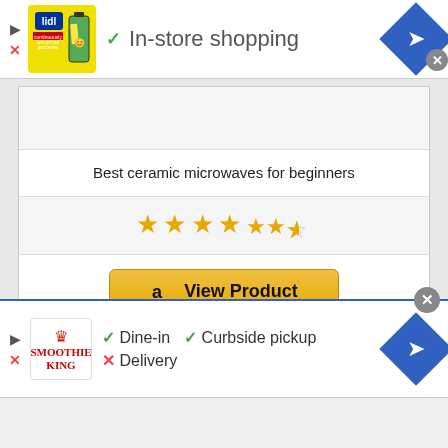[Figure (screenshot): Top advertisement banner with Lidl logo, checkmark, and 'In-store shopping' text with navigation button]
Best ceramic microwaves for beginners
[Figure (other): 4.5 star rating displayed as gold stars]
[Figure (other): Amazon 'View Product' button in gold/yellow]
[Figure (screenshot): Partial product card text partially visible]
[Figure (screenshot): Bottom advertisement banner with Smoothie King logo showing Dine-in checkmark, Curbside pickup checkmark, Delivery X mark]